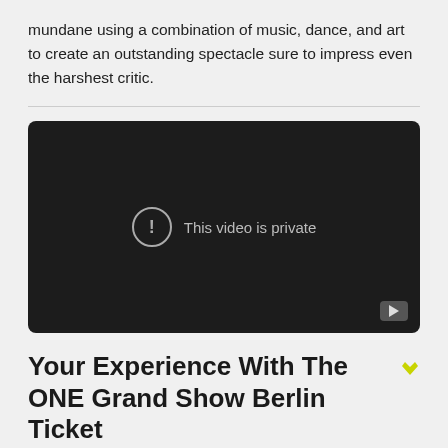mundane using a combination of music, dance, and art to create an outstanding spectacle sure to impress even the harshest critic.
[Figure (screenshot): Embedded video player showing a dark background with the message 'This video is private' and a YouTube play button in the bottom-right corner.]
Your Experience With The ONE Grand Show Berlin Ticket